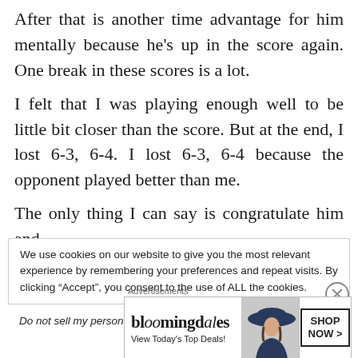After that is another time advantage for him mentally because he's up in the score again. One break in these scores is a lot.
I felt that I was playing enough well to be little bit closer than the score. But at the end, I lost 6-3, 6-4. I lost 6-3, 6-4 because the opponent played better than me.
The only thing I can say is congratulate him and
We use cookies on our website to give you the most relevant experience by remembering your preferences and repeat visits. By clicking “Accept”, you consent to the use of ALL the cookies.
Do not sell my personal information
Advertisements
[Figure (other): Bloomingdale's advertisement banner with logo, 'View Today's Top Deals!' text, woman in wide brim hat, and 'SHOP NOW >' button]